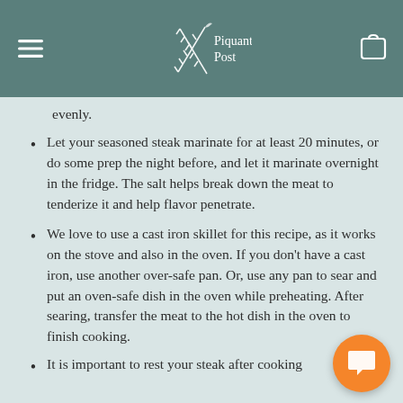Piquant Post
evenly.
Let your seasoned steak marinate for at least 20 minutes, or do some prep the night before, and let it marinate overnight in the fridge. The salt helps break down the meat to tenderize it and help flavor penetrate.
We love to use a cast iron skillet for this recipe, as it works on the stove and also in the oven. If you don’t have a cast iron, use another over-safe pan. Or, use any pan to sear and put an oven-safe dish in the oven while preheating. After searing, transfer the meat to the hot dish in the oven to finish cooking.
It is important to rest your steak after cooking